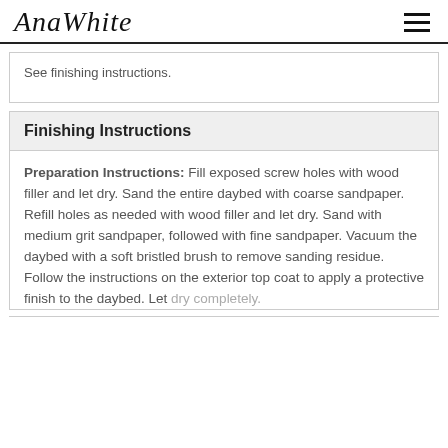AnaWhite
See finishing instructions.
Finishing Instructions
Preparation Instructions: Fill exposed screw holes with wood filler and let dry. Sand the entire daybed with coarse sandpaper. Refill holes as needed with wood filler and let dry. Sand with medium grit sandpaper, followed with fine sandpaper. Vacuum the daybed with a soft bristled brush to remove sanding residue. Follow the instructions on the exterior top coat to apply a protective finish to the daybed. Let dry completely.